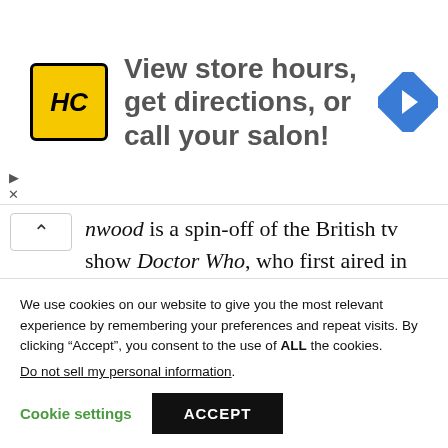[Figure (other): Advertisement banner: HC logo (yellow square with black HC italic text), text 'View store hours, get directions, or call your salon!', blue navigation arrow icon on right]
nwood is a spin-off of the British tv show Doctor Who, who first aired in 2006. It follows a team of alien hunters based in modern Cardiff, which is home to a rift in time and space. The team is directed by Captain Jack Harkness (John Barrowman), an immortal former Time Agent who was introduced in
We use cookies on our website to give you the most relevant experience by remembering your preferences and repeat visits. By clicking “Accept”, you consent to the use of ALL the cookies.
Do not sell my personal information.
Cookie settings   ACCEPT